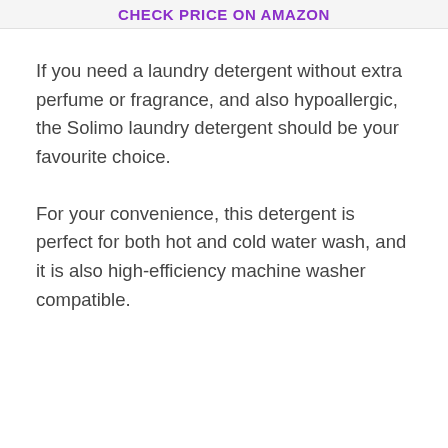CHECK PRICE ON AMAZON
If you need a laundry detergent without extra perfume or fragrance, and also hypoallergic, the Solimo laundry detergent should be your favourite choice.
For your convenience, this detergent is perfect for both hot and cold water wash, and it is also high-efficiency machine washer compatible.